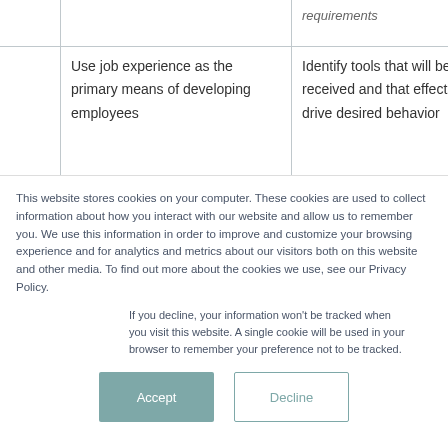|  |  | requirements |
| --- | --- | --- |
|  | Use job experience as the primary means of developing employees | Identify tools that will be well received and that effectively drive desired behavior |
This website stores cookies on your computer. These cookies are used to collect information about how you interact with our website and allow us to remember you. We use this information in order to improve and customize your browsing experience and for analytics and metrics about our visitors both on this website and other media. To find out more about the cookies we use, see our Privacy Policy.
If you decline, your information won't be tracked when you visit this website. A single cookie will be used in your browser to remember your preference not to be tracked.